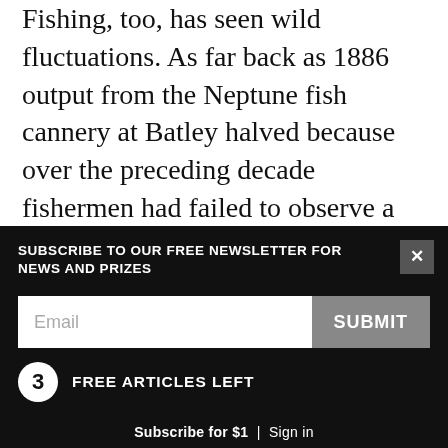Fishing, too, has seen wild fluctuations. As far back as 1886 output from the Neptune fish cannery at Batley halved because over the preceding decade fishermen had failed to observe a voluntary closed season during the breeding months, acting “in a reckless and destructive fashion by netting the mouths of creeks … and destroying hundreds of young fish and thousands of spawn.” The harbour was fished out. Fruit was canned to take up the slack.
A nearby flour mill fared no better. Wheat was brought from the South Island as ballast on timber
SUBSCRIBE TO OUR FREE NEWSLETTER FOR NEWS AND PRIZES
Email
SUBMIT
3 FREE ARTICLES LEFT
Subscribe for $1 | Sign in